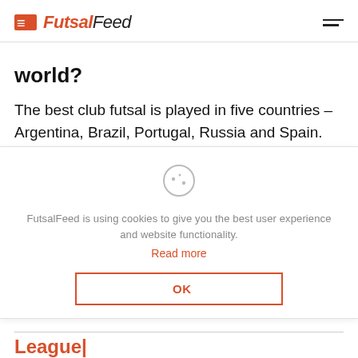FutsalFeed
world?
The best club futsal is played in five countries – Argentina, Brazil, Portugal, Russia and Spain. Brazil's Serie A is
FutsalFeed is using cookies to give you the best user experience and website functionality. Read more OK
League|